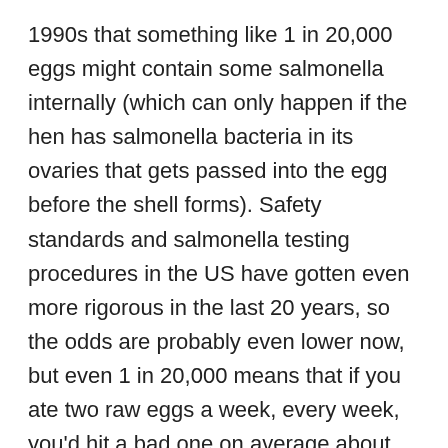1990s that something like 1 in 20,000 eggs might contain some salmonella internally (which can only happen if the hen has salmonella bacteria in its ovaries that gets passed into the egg before the shell forms). Safety standards and salmonella testing procedures in the US have gotten even more rigorous in the last 20 years, so the odds are probably even lower now, but even 1 in 20,000 means that if you ate two raw eggs a week, every week, you'd hit a bad one on average about once every 192 years. I eat eggs almost every day, usually soft boiled or sunny side up, and I've never gotten sick from one.

As for bread, my Mom always puts bread in the